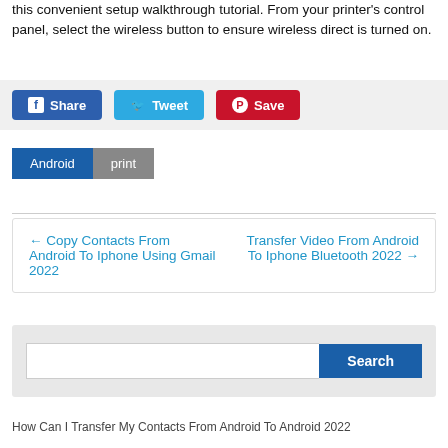this convenient setup walkthrough tutorial. From your printer's control panel, select the wireless button to ensure wireless direct is turned on.
[Figure (screenshot): Social share buttons: Facebook Share, Tweet, Pinterest Save]
Android   print
← Copy Contacts From Android To Iphone Using Gmail 2022   Transfer Video From Android To Iphone Bluetooth 2022 →
[Figure (screenshot): Search box with Search button]
How Can I Transfer My Contacts From Android To Android 2022